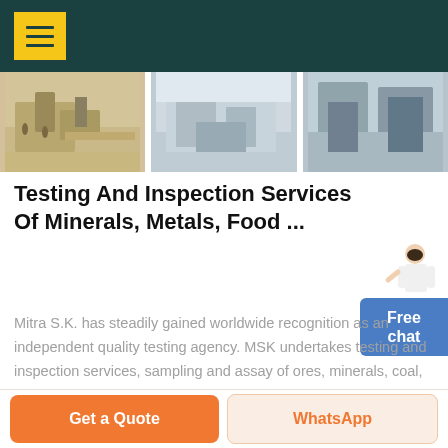[Figure (photo): Three side-by-side photos: a mining/quarry site with machinery, a snowy outdoor industrial scene, and an indoor industrial/laboratory setting.]
Testing And Inspection Services Of Minerals, Metals, Food ...
Mitra S.K. has steadily gained worldwide recognition as an independent quality testing agency. MSK undertakes testing and inspection services, sampling and assay of ores, minerals, coal, metals, fertilizers, food, water and environmental parameters with accurate and consistent results.
Free chat
Get a Quote
WhatsApp